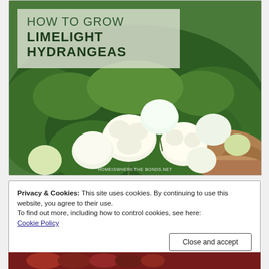[Figure (photo): Photograph of limelight hydrangeas with white/cream globe-shaped flower clusters against green foliage and gravel path, with a semi-transparent overlay box containing the title 'HOW TO GROW LIMELIGHT HYDRANGEAS' and watermark text 'HOMEISWHERETHE BONDS.NET']
Privacy & Cookies: This site uses cookies. By continuing to use this website, you agree to their use.
To find out more, including how to control cookies, see here:
Cookie Policy
Close and accept
[Figure (photo): Partial bottom strip showing what appears to be fruit or vegetables, cropped at bottom of page]